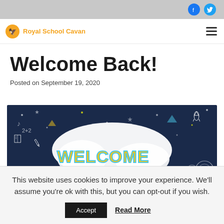Royal School Cavan — website header with social icons (Facebook, Twitter) and navigation
Welcome Back!
Posted on September 19, 2020
[Figure (illustration): Colorful 'WELCOME BACK' graphic on a dark blue background with school-themed doodles including rockets, stars, books, pencils, and other academic icons. Large yellow bubble letters spell WELCOME.]
This website uses cookies to improve your experience. We'll assume you're ok with this, but you can opt-out if you wish.
Accept    Read More